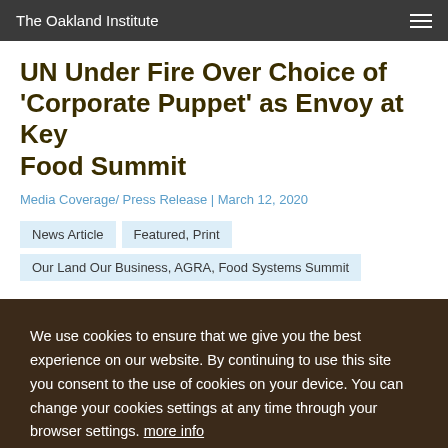The Oakland Institute
UN Under Fire Over Choice of 'Corporate Puppet' as Envoy at Key Food Summit
Media Coverage/ Press Release | March 12, 2020
News Article
Featured, Print
Our Land Our Business, AGRA, Food Systems Summit
We use cookies to ensure that we give you the best experience on our website. By continuing to use this site you consent to the use of cookies on your device. You can change your cookies settings at any time through your browser settings. more info
OK, I agree